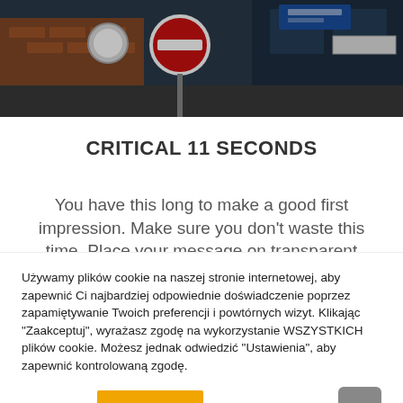[Figure (photo): Photograph of a city street with a red no-entry sign, traffic signs, brick buildings, and street infrastructure visible.]
CRITICAL 11 SECONDS
You have this long to make a good first impression. Make sure you don't waste this time. Place your message on transparent LED
Używamy plików cookie na naszej stronie internetowej, aby zapewnić Ci najbardziej odpowiednie doświadczenie poprzez zapamiętywanie Twoich preferencji i powtórnych wizyt. Klikając "Zaakceptuj", wyrażasz zgodę na wykorzystanie WSZYSTKICH plików cookie. Możesz jednak odwiedzić "Ustawienia", aby zapewnić kontrolowaną zgodę.
Ustawienia
Zaakceptuj